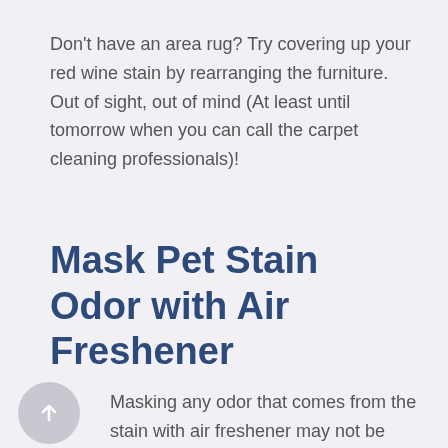Don't have an area rug? Try covering up your red wine stain by rearranging the furniture. Out of sight, out of mind (At least until tomorrow when you can call the carpet cleaning professionals)!
Mask Pet Stain Odor with Air Freshener
Masking any odor that comes from the stain with air freshener may not be necessary for